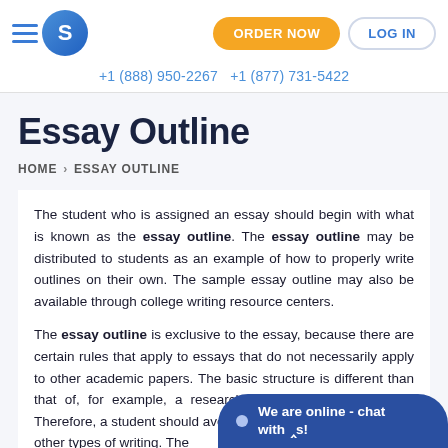S  +1 (888) 950-2267  +1 (877) 731-5422  ORDER NOW  LOG IN
Essay Outline
HOME > ESSAY OUTLINE
The student who is assigned an essay should begin with what is known as the essay outline. The essay outline may be distributed to students as an example of how to properly write outlines on their own. The sample essay outline may also be available through college writing resource centers.
The essay outline is exclusive to the essay, because there are certain rules that apply to essays that do not necessarily apply to other academic papers. The basic structure is different than that of, for example, a research paper or a senior thesis. Therefore, a student should avoid using the essay outline for other types of writing. The